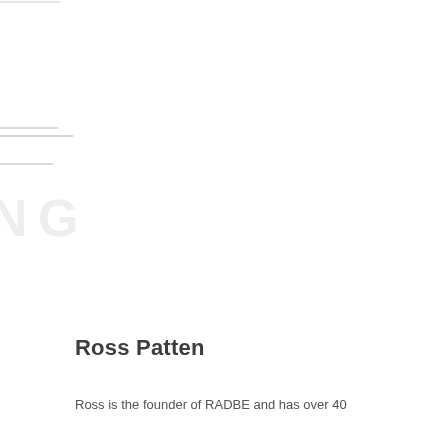Ross Patten
Ross is the founder of RADBE and has over 40